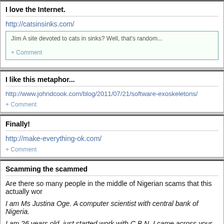I love the Internet.
http://catsinsinks.com/
Jim A site devoted to cats in sinks? Well, that's random...
+ Comment
I like this metaphor...
http://www.johndcook.com/blog/2011/07/21/software-exoskeletons/
+ Comment
Finally!
http://make-everything-ok.com/
+ Comment
Scamming the scammed
Are there so many people in the middle of Nigerian scams that this actually wor
I am Ms Justina Oge. A computer scientist with central bank of Nigeria.
I am 26 years old, just started work with C.B.N. I came across your file which w
The most annoying thing is that they cannot tell you the truth that on no accoun
The only thing I will need to release this fund is a special HARD DISK we call i